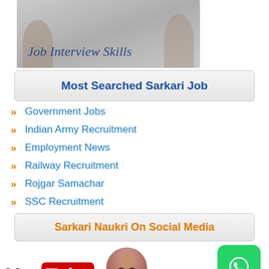[Figure (photo): Banner image with text 'Job Interview Skills' over a light gray background with person silhouettes]
Most Searched Sarkari Job
Government Jobs
Indian Army Recruitment
Employment News
Railway Recruitment
Rojgar Samachar
SSC Recruitment
Sarkari Naukri On Social Media
[Figure (logo): YouTube logo and a woman smiling (social media section) with WhatsApp button]